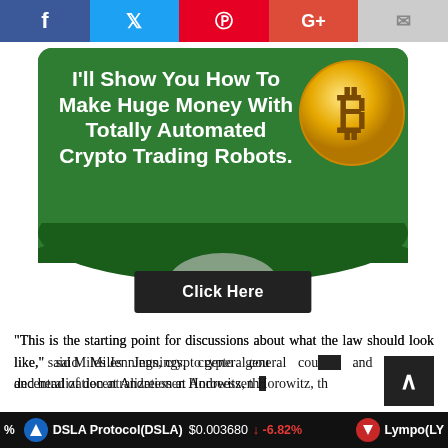[Figure (infographic): Social share buttons bar: Facebook (blue), Twitter (light blue), Pinterest (red), Google+ (orange-red), Email (gray)]
[Figure (infographic): Green advertisement banner with Bitcoin coin graphic. Text: I'll Show You How To Make Huge Money With Totally Automated Crypto Trading Robots. Black 'Click Here' button below.]
“This is the starting point for discussions about what the law should look like,” said Miles Jennings, crypto general counsel and head of decentralization at Andreessen Horowitz, th
DSLA Protocol(DSLA) $0.003680 ↓ -6.82% | Lympo(LY